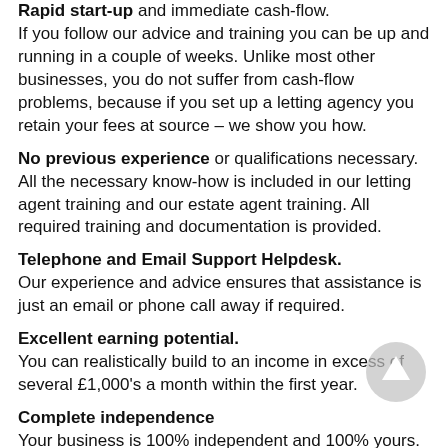Rapid start-up and immediate cash-flow. If you follow our advice and training you can be up and running in a couple of weeks. Unlike most other businesses, you do not suffer from cash-flow problems, because if you set up a letting agency you retain your fees at source – we show you how.
No previous experience or qualifications necessary. All the necessary know-how is included in our letting agent training and our estate agent training. All required training and documentation is provided.
Telephone and Email Support Helpdesk. Our experience and advice ensures that assistance is just an email or phone call away if required.
Excellent earning potential. You can realistically build to an income in excess of several £1,000's a month within the first year.
Complete independence Your business is 100% independent and 100% yours. Unlike a franchise, you'll trade under your own chosen name, and you won't be restricted by someone else's business...